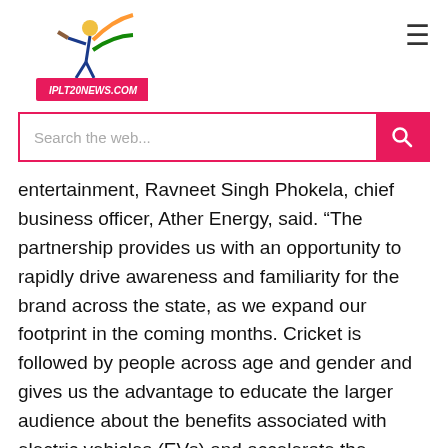[Figure (logo): IPL T20 News logo with cricket player illustration and red banner reading IPLT20NEWS.COM]
Search the web...
entertainment, Ravneet Singh Phokela, chief business officer, Ather Energy, said. “The partnership provides us with an opportunity to rapidly drive awareness and familiarity for the brand across the state, as we expand our footprint in the coming months. Cricket is followed by people across age and gender and gives us the advantage to educate the larger audience about the benefits associated with electric vehicles (EVs) and accelerate the adoption of EVs across the country,” Phokela added.